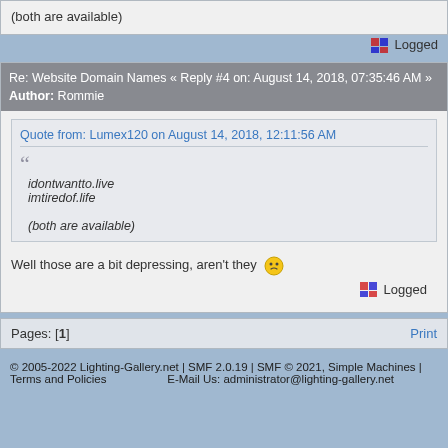(both are available)
Logged
Re: Website Domain Names « Reply #4 on: August 14, 2018, 07:35:46 AM » Author: Rommie
Quote from: Lumex120 on August 14, 2018, 12:11:56 AM
idontwantto.live
imtiredof.life

(both are available)
Well those are a bit depressing, aren't they 😐
Logged
Pages: [1]
Print
© 2005-2022 Lighting-Gallery.net | SMF 2.0.19 | SMF © 2021, Simple Machines | Terms and Policies | E-Mail Us: administrator@lighting-gallery.net